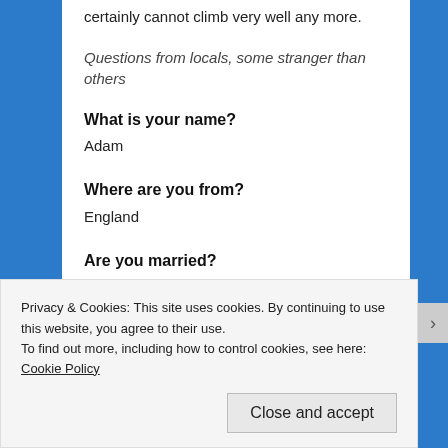certainly cannot climb very well any more.
Questions from locals, some stranger than others
What is your name?
Adam
Where are you from?
England
Are you married?
No.
Why aren't you married?
Beats me.
Privacy & Cookies: This site uses cookies. By continuing to use this website, you agree to their use.
To find out more, including how to control cookies, see here: Cookie Policy